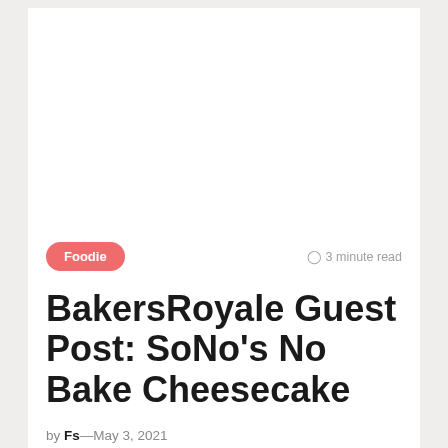[Figure (photo): Large white/blank image placeholder area at top of article card]
Foodie
⊙ 3 minute read
BakersRoyale Guest Post: SoNo's No Bake Cheesecake
by Fs—May 3, 2021